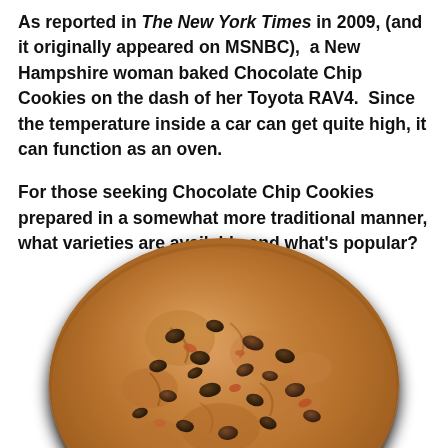As reported in The New York Times in 2009, (and it originally appeared on MSNBC),  a New Hampshire woman baked Chocolate Chip Cookies on the dash of her Toyota RAV4.  Since the temperature inside a car can get quite high, it can function as an oven.
For those seeking Chocolate Chip Cookies prepared in a somewhat more traditional manner, what varieties are available and what's popular?
[Figure (photo): A large chocolate chip cookie photographed from above on a white background, showing a golden-brown baked cookie with visible chocolate chips and a textured surface.]